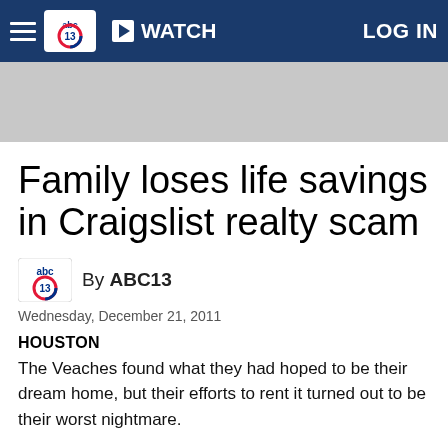ABC13 navigation bar with hamburger menu, ABC13 logo, WATCH button, and LOG IN
[Figure (other): Gray advertisement banner placeholder]
Family loses life savings in Craigslist realty scam
By ABC13
Wednesday, December 21, 2011
HOUSTON
The Veaches found what they had hoped to be their dream home, but their efforts to rent it turned out to be their worst nightmare.
For Shelly and Ron Veach, this will definitely be a Christmas